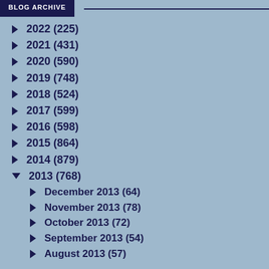BLOG ARCHIVE
2022 (225)
2021 (431)
2020 (590)
2019 (748)
2018 (524)
2017 (599)
2016 (598)
2015 (864)
2014 (879)
2013 (768)
December 2013 (64)
November 2013 (78)
October 2013 (72)
September 2013 (54)
August 2013 (57)